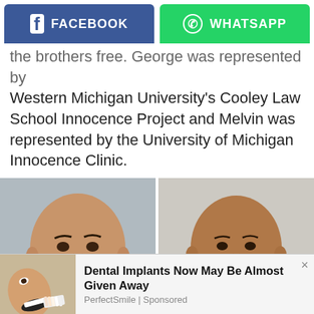[Figure (other): Facebook and WhatsApp share buttons at top of article page]
the brothers free. George was represented by Western Michigan University's Cooley Law School Innocence Project and Melvin was represented by the University of Michigan Innocence Clinic.
[Figure (photo): Two mugshot-style photos side by side: left shows a bald man with beard against a grey wall; right shows a bald man with stubble against a white/light background]
[Figure (photo): Advertisement: Dental Implants Now May Be Almost Given Away - PerfectSmile | Sponsored, with photo of person at dentist showing teeth]
Dental Implants Now May Be Almost Given Away
PerfectSmile | Sponsored